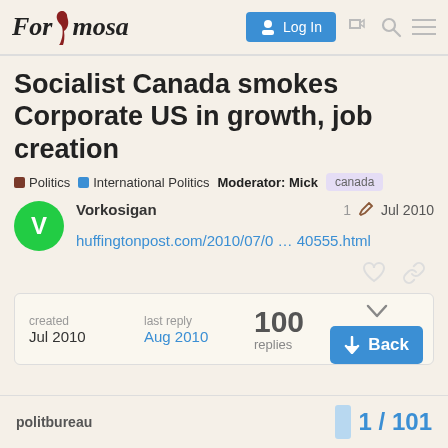Forumosa  Log In
Socialist Canada smokes Corporate US in growth, job creation
Politics  International Politics  Moderator: Mick  canada
Vorkosigan  1  Jul 2010
huffingtonpost.com/2010/07/0 … 40555.html
created Jul 2010  last reply Aug 2010  100 replies
politbureau  1 / 101